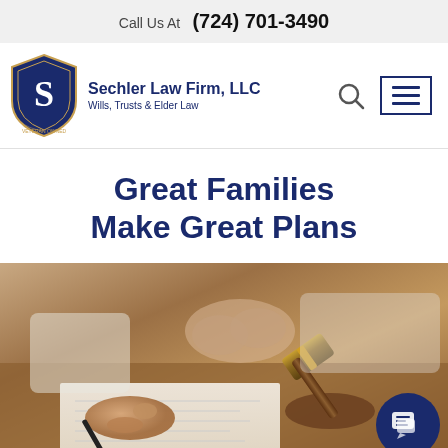Call Us At  (724) 701-3490
[Figure (logo): Sechler Law Firm, LLC logo — dark blue shield with letter S, text 'Sechler Law Firm, LLC' and 'Wills, Trusts & Elder Law', veteran owned badge]
Great Families Make Great Plans
[Figure (photo): Photo of a person signing legal documents with a pen, with a judge's gavel visible on a wooden desk in the background. A chat widget icon appears in the lower right corner.]